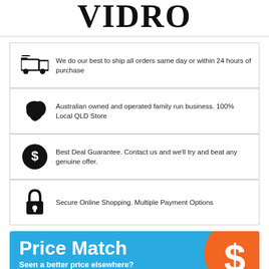[Figure (logo): VIDRO logo text in bold serif font]
We do our best to ship all orders same day or within 24 hours of purchase
Australian owned and operated family run business. 100% Local QLD Store
Best Deal Guarantee. Contact us and we'll try and beat any genuine offer.
Secure Online Shopping. Multiple Payment Options
[Figure (infographic): Price Match banner with blue background, orange circle with dollar sign, text reads 'Price Match - Seen a better price elsewhere?' with a Contact us button]